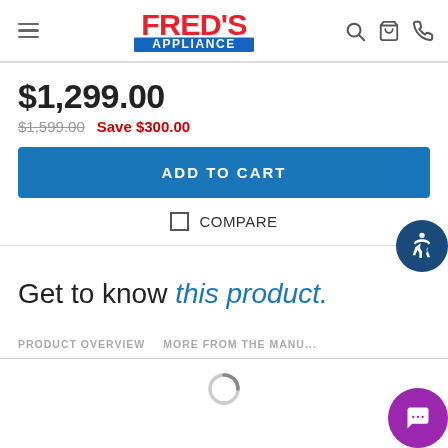Fred's Appliance — navigation header with logo, search, cart, phone icons
$1,299.00
$1,599.00  Save $300.00
ADD TO CART
COMPARE
Get to know this product.
PRODUCT OVERVIEW
MORE FROM THE MANUFACTURER